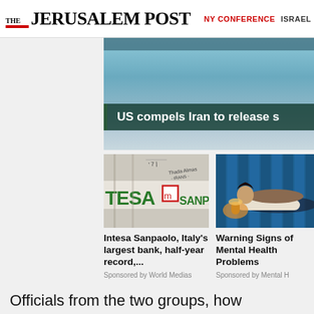[Figure (logo): The Jerusalem Post logo with red underline bar]
NY CONFERENCE   ISRAEL
[Figure (photo): Hero image showing a scenic background with dark teal overlay banner reading: US compels Iran to release s]
[Figure (photo): Photo of Intesa Sanpaolo bank sign in green letters with red logo box]
Intesa Sanpaolo, Italy's largest bank, half-year record,...
Sponsored by World Medias
[Figure (photo): Photo of person lying in bed, bedroom scene with lamp]
Warning Signs of Mental Health Problems
Sponsored by Mental H
Officials from the two groups, how